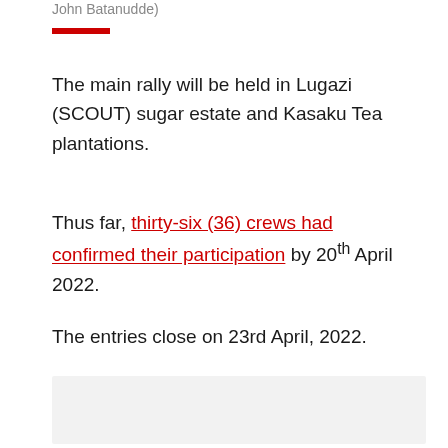John Batanudde)
The main rally will be held in Lugazi (SCOUT) sugar estate and Kasaku Tea plantations.
Thus far, thirty-six (36) crews had confirmed their participation by 20th April 2022.
The entries close on 23rd April, 2022.